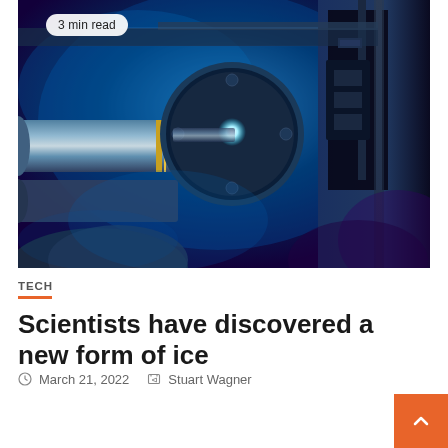[Figure (photo): Close-up photo of a scientific laser or particle beam apparatus glowing bright cyan/blue in a dark laboratory setting, with metal cylindrical components and mechanical parts visible.]
TECH
Scientists have discovered a new form of ice
March 21, 2022   Stuart Wagner